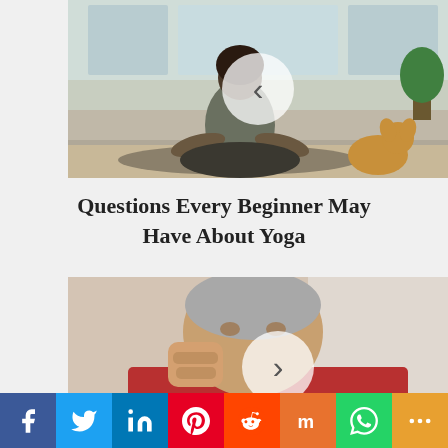[Figure (photo): Woman sitting in lotus yoga pose with a dog beside her in a home setting, with a back navigation arrow circle overlay]
Questions Every Beginner May Have About Yoga
[Figure (photo): Older woman with short gray hair in a red shirt making a fist near her face, with a forward navigation arrow circle overlay]
Social share bar with Facebook, Twitter, LinkedIn, Pinterest, Reddit, Mix, WhatsApp, and More buttons